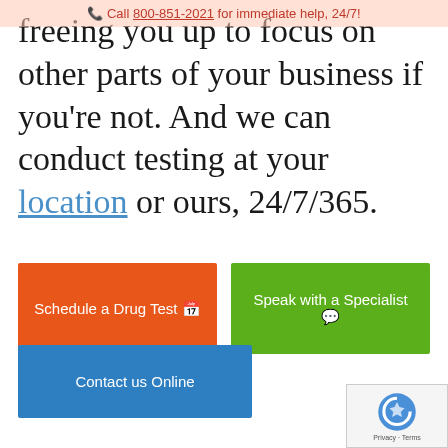freeing you up to focus on other parts of your business if you're not. And we can conduct testing at your location or ours, 24/7/365.
[Figure (infographic): Three call-to-action buttons: orange 'Schedule a Drug Test', green 'Speak with a Specialist', and blue 'Contact us Online']
As opposed to old-fashioned drug testing laboratories, USA Mobile Drug Testing is available 24/7—and we